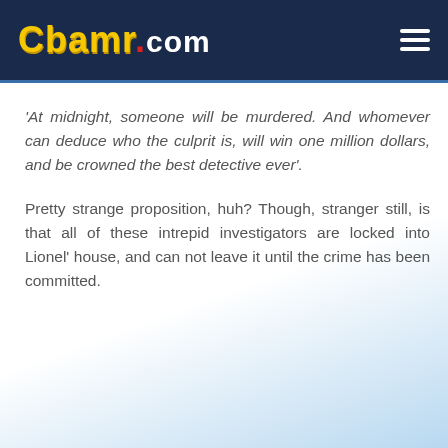CBAMR.COM
'At midnight, someone will be murdered. And whomever can deduce who the culprit is, will win one million dollars, and be crowned the best detective ever'.
Pretty strange proposition, huh? Though, stranger still, is that all of these intrepid investigators are locked into Lionel' house, and can not leave it until the crime has been committed.